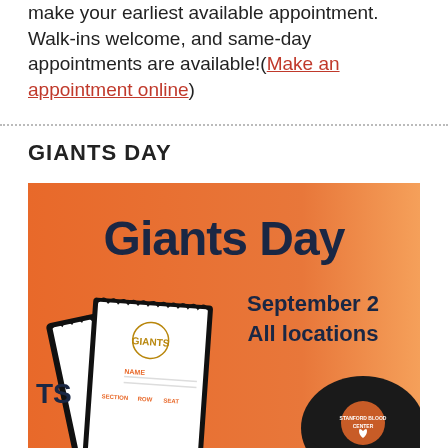make your earliest available appointment. Walk-ins welcome, and same-day appointments are available!(Make an appointment online)
GIANTS DAY
[Figure (illustration): Giants Day promotional banner with orange background. Large bold text 'Giants Day' at top. Below on the right: 'September 2 All locations'. On the left: stylized baseball ticket stubs with 'GIANTS' logo, NAME, SECTION, ROW, SEAT fields. Bottom right: a black baseball cap with Stanford Blood Center logo.]